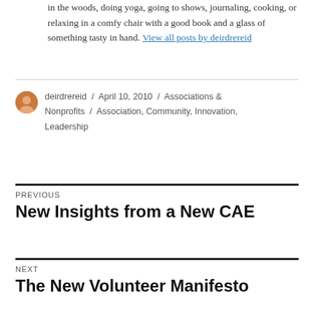in the woods, doing yoga, going to shows, journaling, cooking, or relaxing in a comfy chair with a good book and a glass of something tasty in hand. View all posts by deirdrereid
deirdrereid / April 10, 2010 / Associations & Nonprofits / Association, Community, Innovation, Leadership
Previous
New Insights from a New CAE
Next
The New Volunteer Manifesto